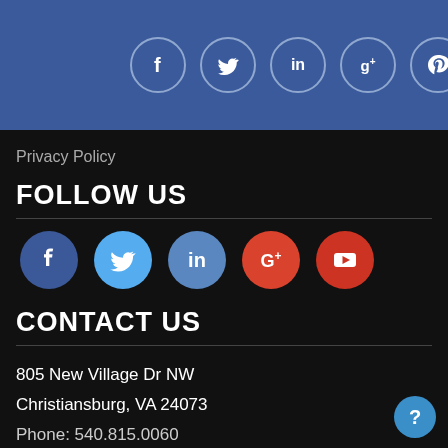[Figure (other): Top blue bar with 5 social media icon circles (Facebook f, Twitter bird, LinkedIn in, Google+ g+, Pinterest p) outlined in light blue on blue background]
Privacy Policy
FOLLOW US
[Figure (other): Row of 5 colored social media icon circles: Facebook (dark blue), Twitter (light blue), LinkedIn (medium blue), Google+ (red), YouTube (red with play button)]
CONTACT US
805 New Village Dr NW
Christiansburg, VA 24073
Phone: 540.815.0060